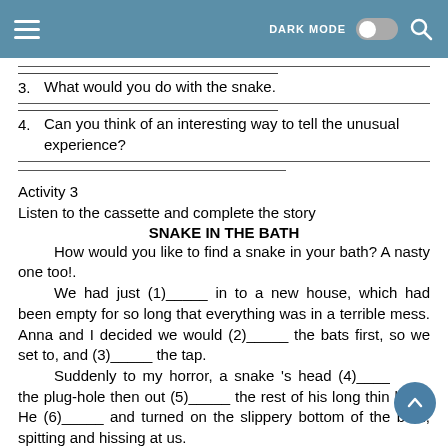DARK MODE [toggle] [search]
3.    What would you do with the snake.
4.    Can you think of an interesting way to tell the unusual experience?
Activity 3
Listen to the cassette and complete the story
SNAKE IN THE BATH
How would you like to find a snake in your bath? A nasty one too!.

We had just (1)_____ in to a new house, which had been empty for so long that everything was in a terrible mess. Anna and I decided we would (2)_____ the bats first, so we set to, and (3)_____ the tap.

Suddenly to my horror, a snake 's head (4)____ the plug-hole then out (5)_____ the rest of his long thin body. He (6)_____ and turned on the slippery bottom of the bath, spitting and hissing at us.